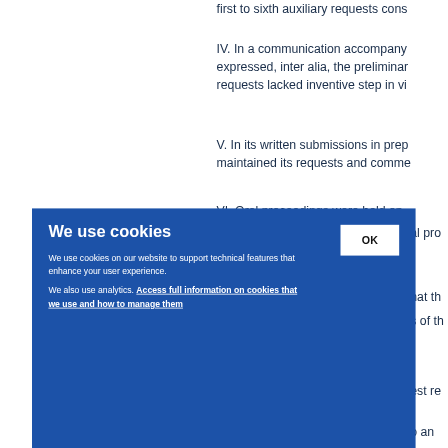first to sixth auxiliary requests cons
IV. In a communication accompany expressed, inter alia, the preliminar requests lacked inventive step in vi
V. In its written submissions in prep maintained its requests and comme
VI. Oral proceedings were held on al pro
We use cookies
We use cookies on our website to support technical features that enhance your user experience.
We also use analytics. Access full information on cookies that we use and how to manage them
hat th s of th est re o an